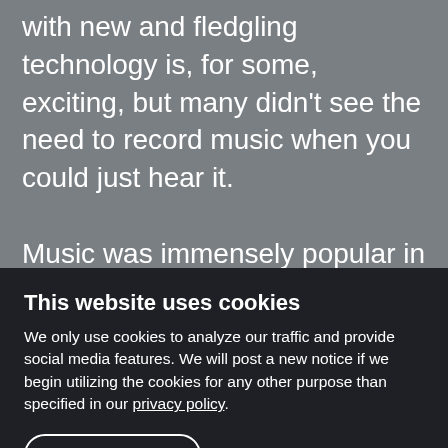with new and fledgling technology is, for some, exciting, but many didn't see the need to record music when you could just hear it.
Music was immensely popular in the home at that time. Printed sheet music, like this Chopin Nocturne No. 8, performed by Ingrid Fliter, sold millions of copies, and many companies produced home pianos of all shapes and sizes. To think about a family bonding through listening and playing
This website uses cookies
We only use cookies to analyze our traffic and provide social media features. We will post a new notice if we begin utilizing the cookies for any other purpose than specified in our privacy policy.
Allow all cookies
Show details